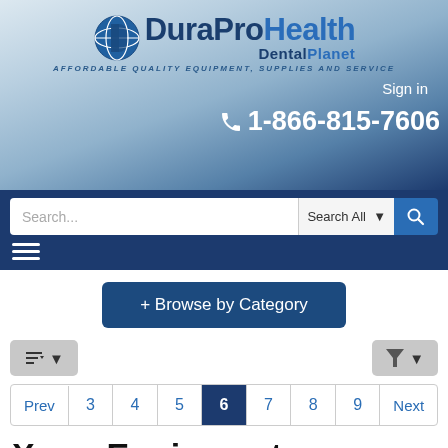[Figure (logo): DuraPro Health Dental Planet logo with globe icon and tagline 'Affordable Quality Equipment, Supplies and Service']
Sign in
1-866-815-7606
[Figure (screenshot): Search bar with text input, 'Search All' dropdown, and search button; hamburger menu below]
+ Browse by Category
[Figure (screenshot): Sort button (ascending icon with dropdown) on the left and filter button (funnel icon with dropdown) on the right]
[Figure (screenshot): Pagination bar: Prev, 3, 4, 5, 6 (active), 7, 8, 9, Next]
X-ray Equipment